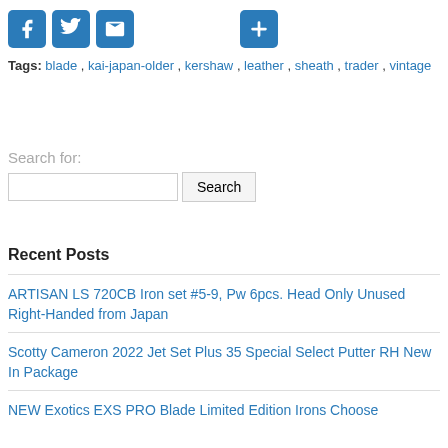[Figure (other): Social sharing icons: Facebook (blue F), Twitter (blue bird), Email (blue envelope), and a blue plus button]
Tags: blade , kai-japan-older , kershaw , leather , sheath , trader , vintage
Search for:
Recent Posts
ARTISAN LS 720CB Iron set #5-9, Pw 6pcs. Head Only Unused Right-Handed from Japan
Scotty Cameron 2022 Jet Set Plus 35 Special Select Putter RH New In Package
NEW Exotics EXS PRO Blade Limited Edition Irons Choose